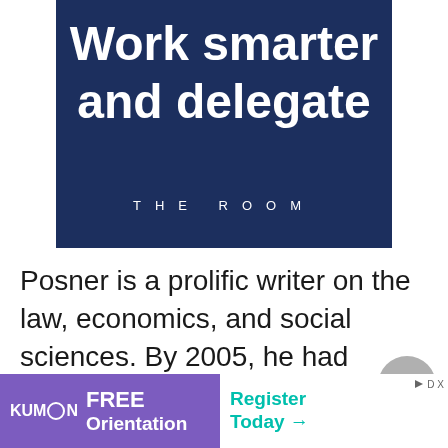[Figure (illustration): Book cover with dark navy blue background showing text 'Work smarter and delegate' in large white bold letters and 'THE ROOM' in spaced white letters at the bottom]
Posner is a prolific writer on the law, economics, and social sciences. By 2005, he had written over 2,200 judicial opinions, 38 books, and more than 300 articles and book reviews.
His
[Figure (infographic): Kumon FREE Orientation advertisement banner at bottom. Left side purple with Kumon logo and 'FREE Orientation' text. Right side white with 'Register Today →' in teal. Small 'D X' ad marker in top right corner.]